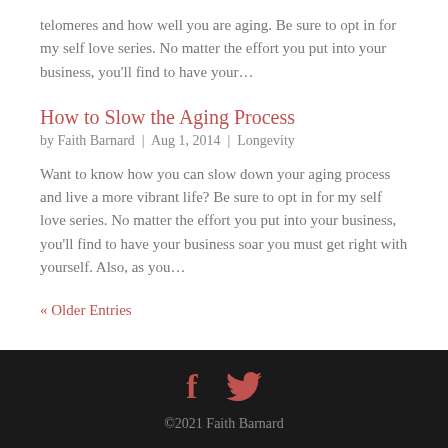telomeres and how well you are aging. Be sure to opt in for my self love series. No matter the effort you put into your business, you’ll find to have your…
How to Slow the Aging Process
by Faith Barnard | Aug 1, 2014 | Longevity
Want to know how you can slow down your aging process and live a more vibrant life? Be sure to opt in for my self love series. No matter the effort you put into your business, you’ll find to have your business soar you must get right with yourself. Also, as you…
« Older Entries
©2021 Faith Barnard